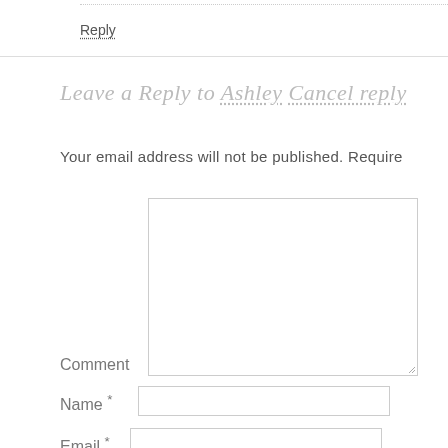Reply
Leave a Reply to Ashley Cancel reply
Your email address will not be published. Require
Comment
Name *
Email *